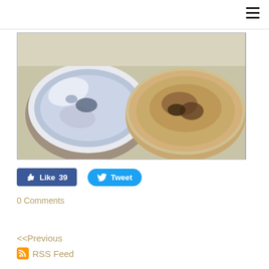[Figure (photo): Two stainless steel plates/dishes on a light surface, one cleaned and reflective on the left, one with food residue on the right]
[Figure (other): Facebook Like button with count 39 and Twitter Tweet button]
0 Comments
<<Previous
RSS Feed